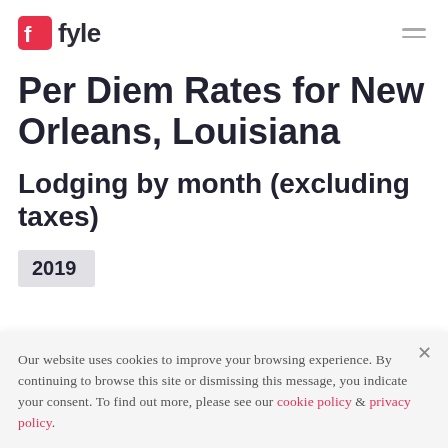Fyle
Per Diem Rates for New Orleans, Louisiana
Lodging by month (excluding taxes)
2019
Our website uses cookies to improve your browsing experience. By continuing to browse this site or dismissing this message, you indicate your consent. To find out more, please see our cookie policy & privacy policy.